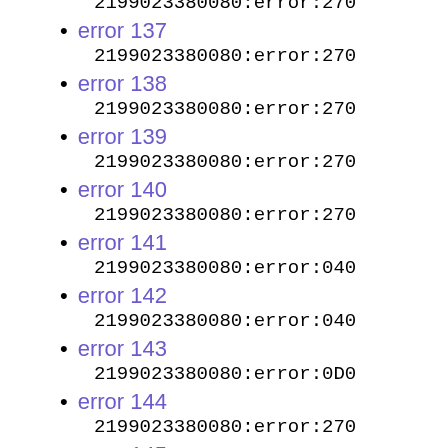2199023380080:error:270
error 137
2199023380080:error:270
error 138
2199023380080:error:270
error 139
2199023380080:error:270
error 140
2199023380080:error:270
error 141
2199023380080:error:040
error 142
2199023380080:error:040
error 143
2199023380080:error:0D0
error 144
2199023380080:error:270
error 145
2199023380080:error:040
error 146
2199023380080:error:040
error 147
2199023380080:error:0D0